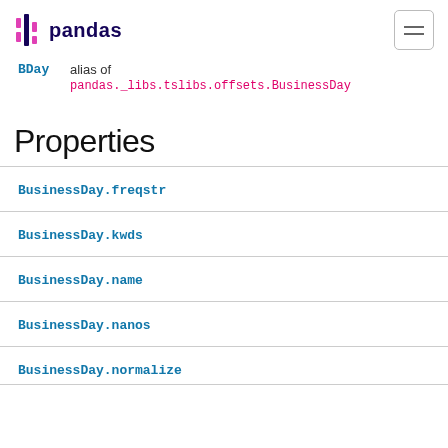pandas
BDay   alias of
pandas._libs.tslibs.offsets.BusinessDay
Properties
BusinessDay.freqstr
BusinessDay.kwds
BusinessDay.name
BusinessDay.nanos
BusinessDay.normalize